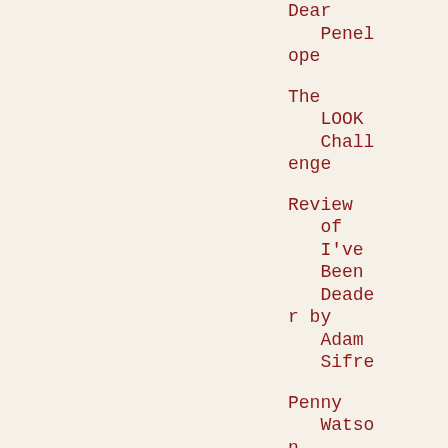Dear Penelope
The LOOK Challenge
Review of I've Been Deader by Adam Sifre
Penny Watson,